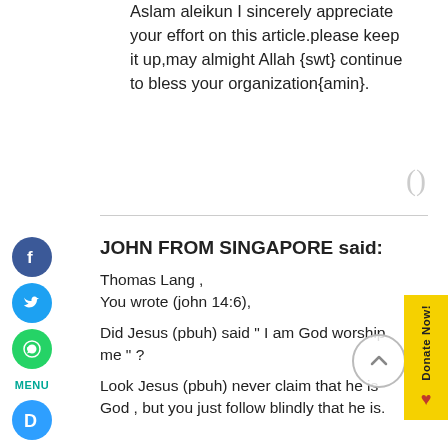Aslam aleikun I sincerely appreciate your effort on this article.please keep it up,may almight Allah {swt} continue to bless your organization{amin}.
JOHN FROM SINGAPORE said:
Thomas Lang ,
You wrote (john 14:6),

Did Jesus (pbuh) said " I am God worship me " ?

Look Jesus (pbuh) never claim that he is God , but you just follow blindly that he is.